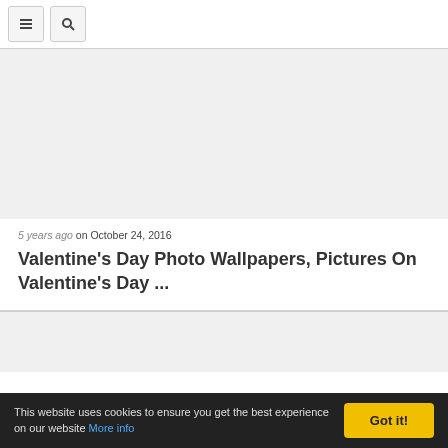Navigation bar with menu and search buttons
[Figure (other): Blank/white image placeholder area for article thumbnail]
5 years ago on October 24, 2016
Valentine's Day Photo Wallpapers, Pictures On Valentine's Day ...
[Figure (other): Blank/white image placeholder area for second article thumbnail]
This website uses cookies to ensure you get the best experience on our website More info   Got it!